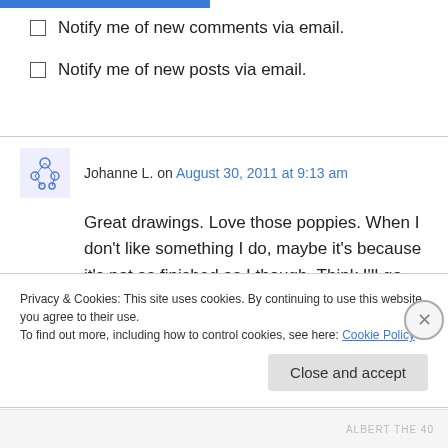Notify me of new comments via email.
Notify me of new posts via email.
Johanne L. on August 30, 2011 at 9:13 am
Great drawings. Love those poppies. When I don't like something I do, maybe it's because it's not as finished as I though. Think I'll go back to some projects I did and take a good look at
Privacy & Cookies: This site uses cookies. By continuing to use this website, you agree to their use.
To find out more, including how to control cookies, see here: Cookie Policy
Close and accept